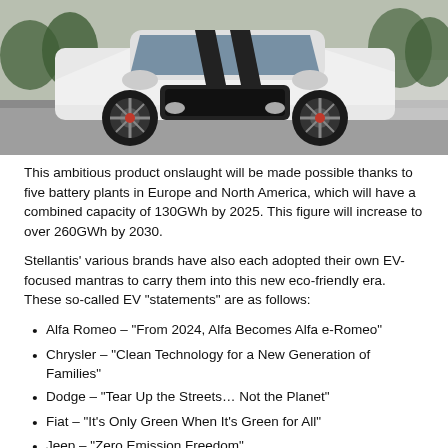[Figure (photo): White performance SUV (Dodge Durango SRT) with black racing stripes, photographed on a race track from a front-low angle. Trees visible in background.]
This ambitious product onslaught will be made possible thanks to five battery plants in Europe and North America, which will have a combined capacity of 130GWh by 2025. This figure will increase to over 260GWh by 2030.
Stellantis' various brands have also each adopted their own EV-focused mantras to carry them into this new eco-friendly era. These so-called EV "statements" are as follows:
Alfa Romeo – “From 2024, Alfa Becomes Alfa e-Romeo”
Chrysler – “Clean Technology for a New Generation of Families”
Dodge – “Tear Up the Streets… Not the Planet”
Fiat – “It’s Only Green When It’s Green for All”
Jeep – “Zero Emission Freedom”
Maserati – “The Best in Performance Luxury, Electrified”